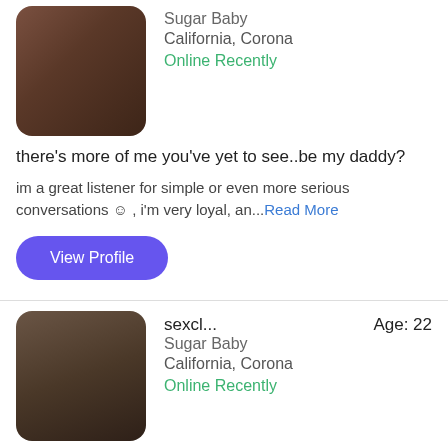[Figure (photo): Blurred profile photo of a person, dark tones, top of page]
Sugar Baby
California, Corona
Online Recently
there's more of me you've yet to see..be my daddy?
im a great listener for simple or even more serious conversations ☺ , i'm very loyal, an...Read More
View Profile
[Figure (photo): Blurred profile photo of a person with dark hair, second profile card]
sexcl...
Age: 22
Sugar Baby
California, Corona
Online Recently
always !
I love to have fun and meet new people. I care about others and i'm always here to talk...Read More